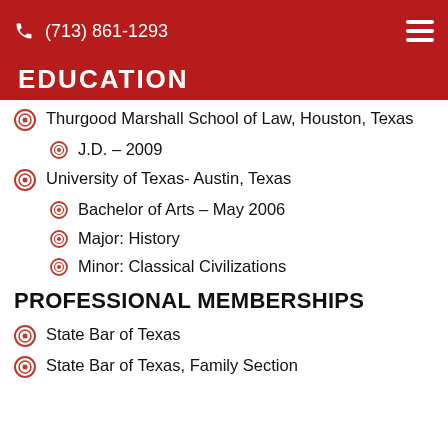(713) 861-1293
EDUCATION
Thurgood Marshall School of Law, Houston, Texas
J.D. – 2009
University of Texas- Austin, Texas
Bachelor of Arts – May 2006
Major: History
Minor: Classical Civilizations
PROFESSIONAL MEMBERSHIPS
State Bar of Texas
State Bar of Texas, Family Section